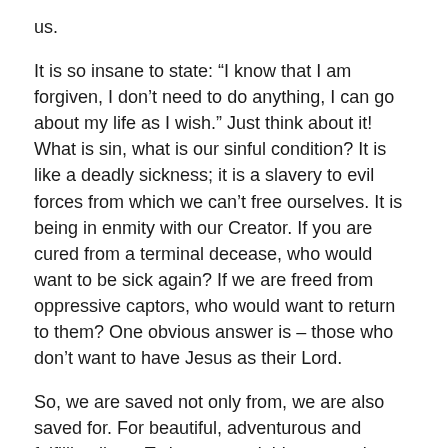us.
It is so insane to state: “I know that I am forgiven, I don’t need to do anything, I can go about my life as I wish.” Just think about it! What is sin, what is our sinful condition? It is like a deadly sickness; it is a slavery to evil forces from which we can’t free ourselves. It is being in enmity with our Creator. If you are cured from a terminal decease, who would want to be sick again? If we are freed from oppressive captors, who would want to return to them? One obvious answer is – those who don’t want to have Jesus as their Lord.
So, we are saved not only from, we are also saved for. For beautiful, adventurous and fulfilling lives. To love our neighbours, and to serve all the people in our lives with everything we are and with everything we have.